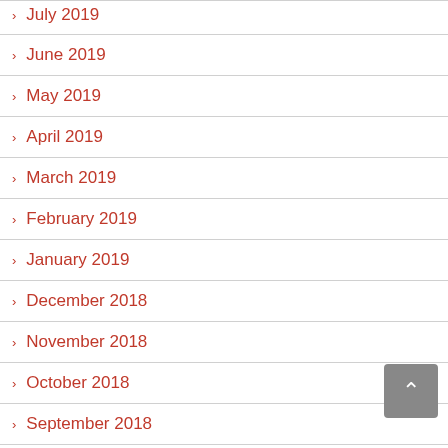July 2019
June 2019
May 2019
April 2019
March 2019
February 2019
January 2019
December 2018
November 2018
October 2018
September 2018